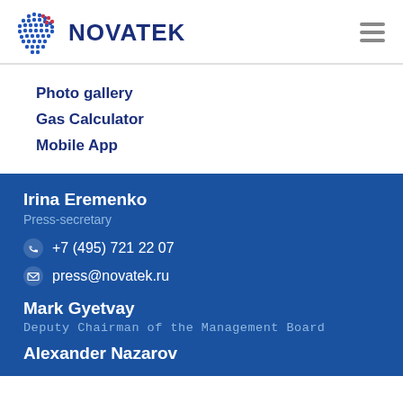[Figure (logo): NOVATEK company logo with pixelated blue/red dot sphere and bold navy NOVATEK text]
Photo gallery
Gas Calculator
Mobile App
Irina Eremenko
Press-secretary
+7 (495) 721 22 07
press@novatek.ru
Mark Gyetvay
Deputy Chairman of the Management Board
Alexander Nazarov